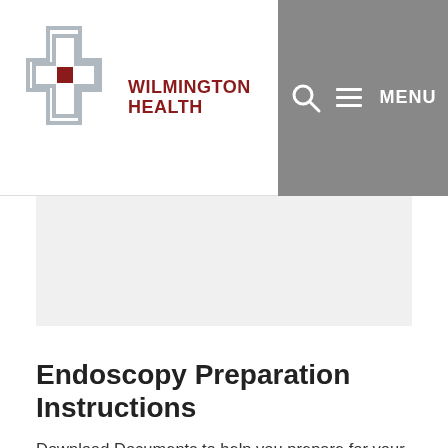Wilmington Health — site navigation header with logo and menu
[Figure (screenshot): Blank white rectangular area serving as advertisement or image placeholder]
Endoscopy Preparation Instructions
Download Documents to help you prepare for your procedure.